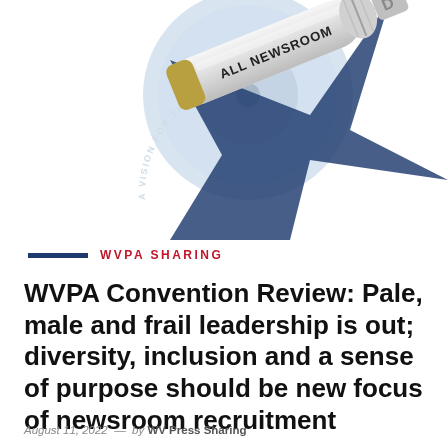[Figure (illustration): WVPA Newsroom logo illustration: a megaphone/baton with 'ALL NEWSROOM' text, a silver disc/CD element, a dark blue star shape with 'A VISION FOR THE FUTURE' curved text, on a white background.]
WVPA SHARING
WVPA Convention Review: Pale, male and frail leadership is out; diversity, inclusion and a sense of purpose should be new focus of newsroom recruitment
August 11, 2022  —  by WV Press Sharing